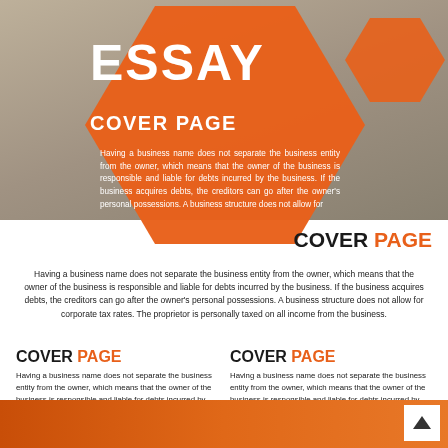[Figure (infographic): Essay cover page infographic with orange hexagon shapes, a photo of a person writing, title text ESSAY COVER PAGE, body text about business entities, two column sections, and an orange footer bar.]
ESSAY
COVER PAGE
Having a business name does not separate the business entity from the owner, which means that the owner of the business is responsible and liable for debts incurred by the business. If the business acquires debts, the creditors can go after the owner's personal possessions. A business structure does not allow for
COVER PAGE
Having a business name does not separate the business entity from the owner, which means that the owner of the business is responsible and liable for debts incurred by the business. If the business acquires debts, the creditors can go after the owner's personal possessions. A business structure does not allow for corporate tax rates. The proprietor is personally taxed on all income from the business.
COVER PAGE
Having a business name does not separate the business entity from the owner, which means that the owner of the business is responsible and liable for debts incurred by the business. If the business acquires debts, the
COVER PAGE
Having a business name does not separate the business entity from the owner, which means that the owner of the business is responsible and liable for debts incurred by the business. If the business acquires debts, the